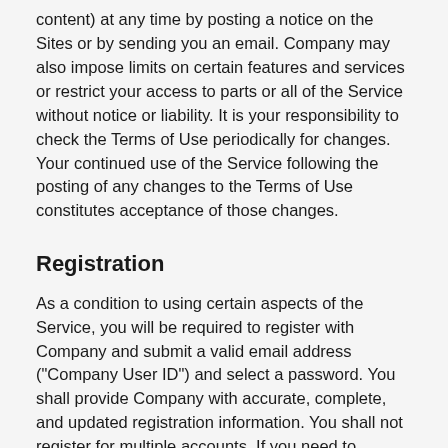content) at any time by posting a notice on the Sites or by sending you an email. Company may also impose limits on certain features and services or restrict your access to parts or all of the Service without notice or liability. It is your responsibility to check the Terms of Use periodically for changes. Your continued use of the Service following the posting of any changes to the Terms of Use constitutes acceptance of those changes.
Registration
As a condition to using certain aspects of the Service, you will be required to register with Company and submit a valid email address ("Company User ID") and select a password. You shall provide Company with accurate, complete, and updated registration information. You shall not register for multiple accounts. If you need to change your email address, contact Company using the options available on the Website. Failure to follow these rules shall constitute a